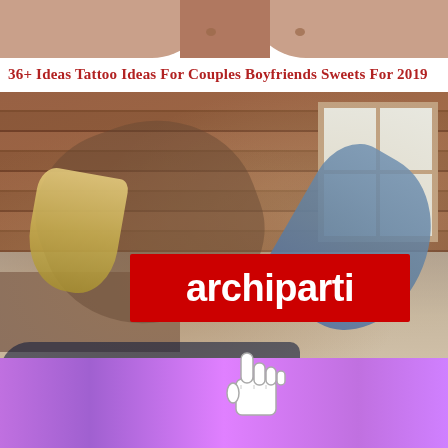[Figure (photo): Top portion of the page showing a skin/torso area at the very top, part of a web page screenshot]
36+ Ideas Tattoo Ideas For Couples Boyfriends Sweets For 2019
[Figure (photo): A couple playing on a bed in a rustic wood-paneled room; a woman with blonde hair being lifted by a man; a red branded banner reading 'archiparti' overlaid on the photo]
[Figure (other): Purple/pink gradient footer bar with a white hand cursor/pointer icon overlay]